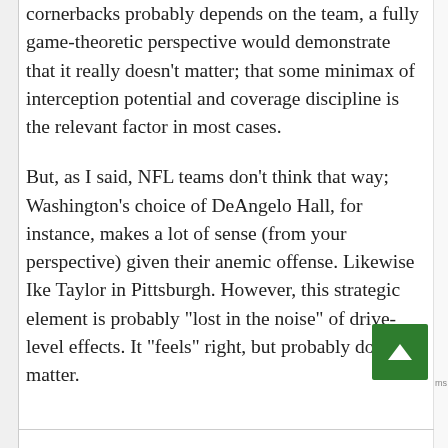cornerbacks probably depends on the team, a fully game-theoretic perspective would demonstrate that it really doesn't matter; that some minimax of interception potential and coverage discipline is the relevant factor in most cases.
But, as I said, NFL teams don't think that way; Washington's choice of DeAngelo Hall, for instance, makes a lot of sense (from your perspective) given their anemic offense. Likewise Ike Taylor in Pittsburgh. However, this strategic element is probably "lost in the noise" of drive-level effects. It "feels" right, but probably doesn't matter.